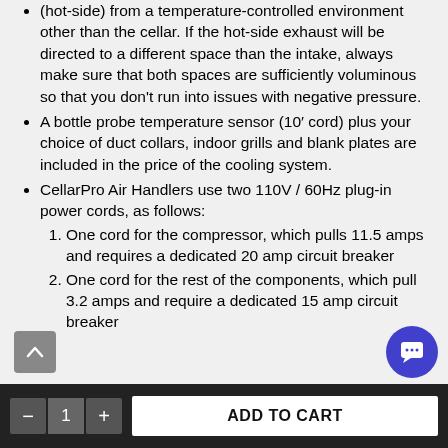(hot-side) from a temperature-controlled environment other than the cellar. If the hot-side exhaust will be directed to a different space than the intake, always make sure that both spaces are sufficiently voluminous so that you don't run into issues with negative pressure.
A bottle probe temperature sensor (10′ cord) plus your choice of duct collars, indoor grills and blank plates are included in the price of the cooling system.
CellarPro Air Handlers use two 110V / 60Hz plug-in power cords, as follows:
1. One cord for the compressor, which pulls 11.5 amps and requires a dedicated 20 amp circuit breaker
2. One cord for the rest of the components, which pull 3.2 amps and require a dedicated 15 amp circuit breaker